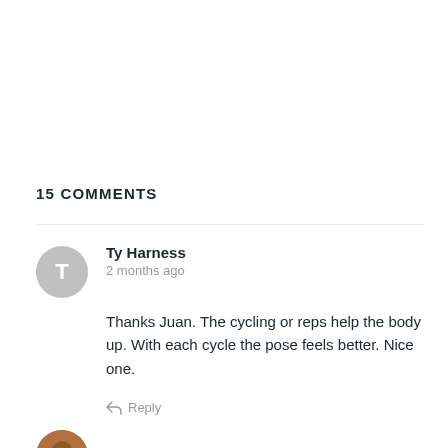15 COMMENTS
Ty Harness
2 months ago

Thanks Juan. The cycling or reps help the body up. With each cycle the pose feels better. Nice one.

↩ Reply
Juan